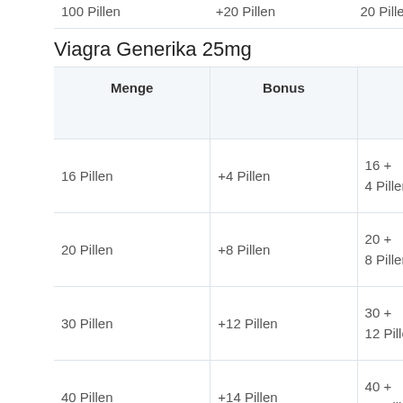| 100 Pillen | +20 Pillen | 20 Pillen | 217.30 € | 315.95 € | K |
Viagra Generika 25mg
| Menge | Bonus | Menge + Bonus | Preis | Sie Sparen | J k |
| --- | --- | --- | --- | --- | --- |
| 16 Pillen | +4 Pillen | 16 + 4 Pillen | 71.50 € |  | K |
| 20 Pillen | +8 Pillen | 20 + 8 Pillen | 84.90 € | 15.20 € | K |
| 30 Pillen | +12 Pillen | 30 + 12 Pillen | 110.90 € | 39.25 € | K |
| 40 Pillen | +14 Pillen | 40 + 14 Pillen | 129.10 € | 63.95 € | K |